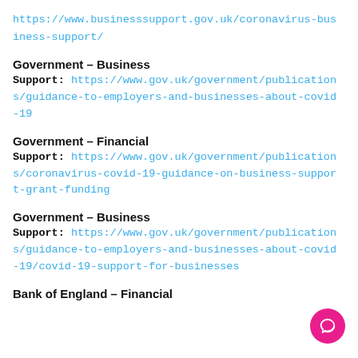https://www.businesssupport.gov.uk/coronavirus-business-support/
Government – Business
Support: https://www.gov.uk/government/publications/guidance-to-employers-and-businesses-about-covid-19
Government – Financial
Support: https://www.gov.uk/government/publications/coronavirus-covid-19-guidance-on-business-support-grant-funding
Government – Business
Support: https://www.gov.uk/government/publications/guidance-to-employers-and-businesses-about-covid-19/covid-19-support-for-businesses
Bank of England – Financial